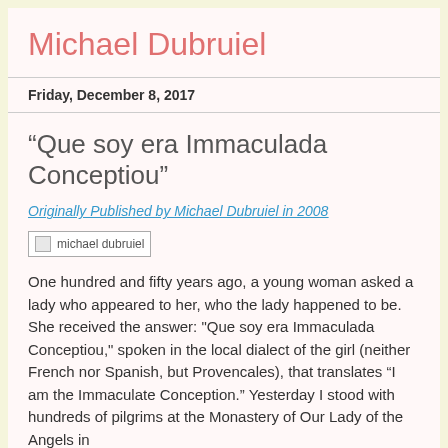Michael Dubruiel
Friday, December 8, 2017
“Que soy era Immaculada Conceptiou”
Originally Published by Michael Dubruiel in 2008
[Figure (photo): Image placeholder labeled 'michael dubruiel']
One hundred and fifty years ago, a young woman asked a lady who appeared to her, who the lady happened to be. She received the answer: "Que soy era Immaculada Conceptiou," spoken in the local dialect of the girl (neither French nor Spanish, but Provencales), that translates “I am the Immaculate Conception.” Yesterday I stood with hundreds of pilgrims at the Monastery of Our Lady of the Angels in